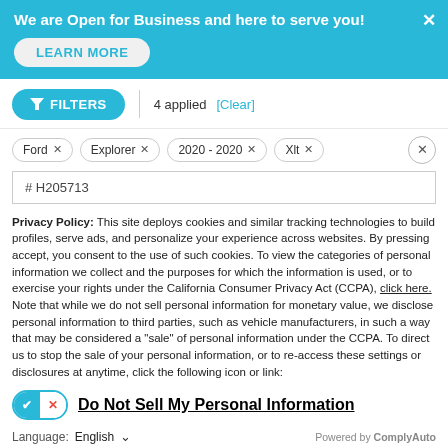We are Open for Business and here to serve you!
LEARN MORE
FILTERS  4 applied  [Clear]
Ford ×   Explorer ×   2020 - 2020 ×   Xlt ×
# H205713
Privacy Policy: This site deploys cookies and similar tracking technologies to build profiles, serve ads, and personalize your experience across websites. By pressing accept, you consent to the use of such cookies. To view the categories of personal information we collect and the purposes for which the information is used, or to exercise your rights under the California Consumer Privacy Act (CCPA), click here. Note that while we do not sell personal information for monetary value, we disclose personal information to third parties, such as vehicle manufacturers, in such a way that may be considered a "sale" of personal information under the CCPA. To direct us to stop the sale of your personal information, or to re-access these settings or disclosures at anytime, click the following icon or link:
Do Not Sell My Personal Information
Language:  English  ∨  Powered by ComplyAuto
Accept and Continue →
California Privacy Disclosures